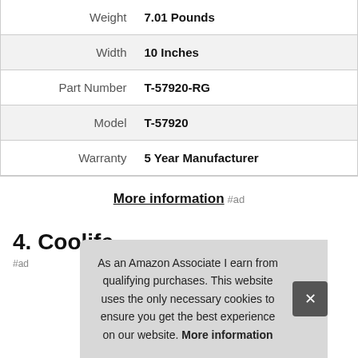| Attribute | Value |
| --- | --- |
| Weight | 7.01 Pounds |
| Width | 10 Inches |
| Part Number | T-57920-RG |
| Model | T-57920 |
| Warranty | 5 Year Manufacturer |
More information #ad
4. Coolife
#ad
As an Amazon Associate I earn from qualifying purchases. This website uses the only necessary cookies to ensure you get the best experience on our website. More information